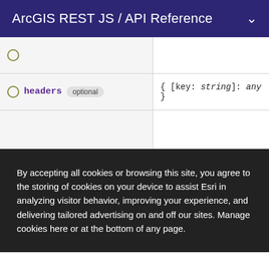ArcGIS REST JS / API Reference
| Property | Modifier | Type |
| --- | --- | --- |
|  |  |  |
| headers | optional | { [key: string]: any } |
|  |  |  |
| hideToken | optional | boolean |
By accepting all cookies or browsing this site, you agree to the storing of cookies on your device to assist Esri in analyzing visitor behavior, improving your experience, and delivering tailored advertising on and off our sites. Manage cookies here or at the bottom of any page.